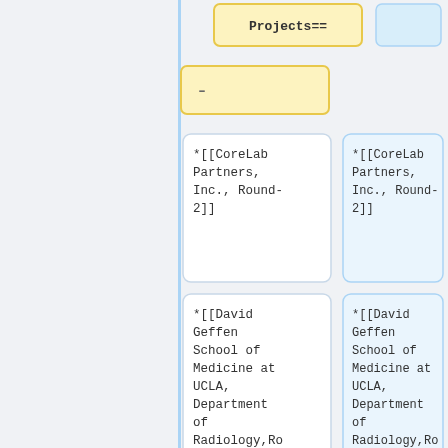[Figure (flowchart): A flowchart/diagram showing wiki-style project nodes including 'Projects==', CoreLab Partners Inc. Round-2, and David Geffen School of Medicine at UCLA, Department of Radiology, Round-2 entries in yellow and blue-tinted boxes connected by a vertical blue bar. Also includes a 'Round 3' node at the bottom right.]